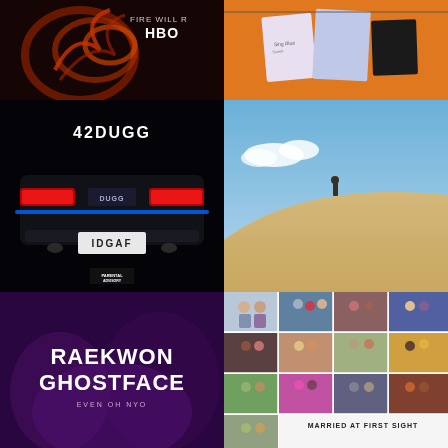[Figure (photo): HBO show poster with fiery swirl and text 'FIRE WILL R...' and HBO logo, dark red/black background]
[Figure (photo): Orange background with papers/receipts hanging on a line including blue patterned fabric and a black square]
[Figure (photo): 42 Dugg album cover - black background with rear of Dodge muscle car, license plate reading IDGAF, blue tail lights]
[Figure (photo): Person standing alone on top of a sand dune with blue sky and white clouds]
[Figure (photo): Raekwon Ghostface album/event poster - purple tinted image with large white bold text reading RAEKWON GHOSTFACE with smaller text below]
[Figure (photo): Married at First Sight collage - grid of 12 couple photos plus partial row with text 'MARRIED AT FIRST SIGHT']